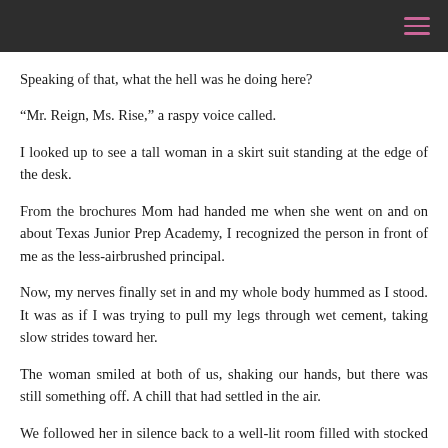Speaking of that, what the hell was he doing here?
“Mr. Reign, Ms. Rise,” a raspy voice called.
I looked up to see a tall woman in a skirt suit standing at the edge of the desk.
From the brochures Mom had handed me when she went on and on about Texas Junior Prep Academy, I recognized the person in front of me as the less-airbrushed principal.
Now, my nerves finally set in and my whole body hummed as I stood. It was as if I was trying to pull my legs through wet cement, taking slow strides toward her.
The woman smiled at both of us, shaking our hands, but there was still something off. A chill that had settled in the air.
We followed her in silence back to a well-lit room filled with stocked bookshelves. Two leather armchairs sat in front of a